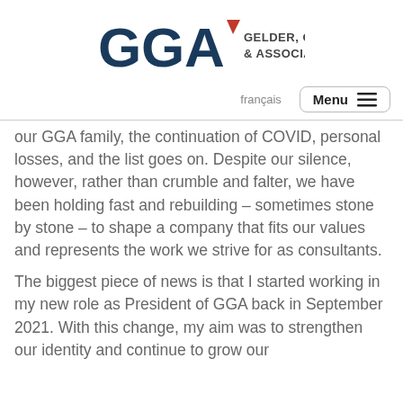[Figure (logo): GGA Gelder, Gingras & Associates logo with dark blue GGA letters and red arrow/triangle accent]
français   Menu
our GGA family, the continuation of COVID, personal losses, and the list goes on. Despite our silence, however, rather than crumble and falter, we have been holding fast and rebuilding – sometimes stone by stone – to shape a company that fits our values and represents the work we strive for as consultants.
The biggest piece of news is that I started working in my new role as President of GGA back in September 2021. With this change, my aim was to strengthen our identity and continue to grow our